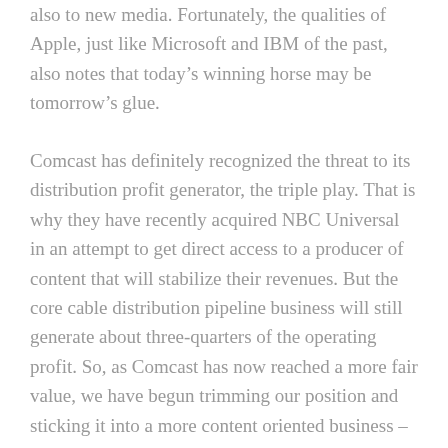also to new media. Fortunately, the qualities of Apple, just like Microsoft and IBM of the past, also notes that today's winning horse may be tomorrow's glue.
Comcast has definitely recognized the threat to its distribution profit generator, the triple play. That is why they have recently acquired NBC Universal in an attempt to get direct access to a producer of content that will stabilize their revenues. But the core cable distribution pipeline business will still generate about three-quarters of the operating profit. So, as Comcast has now reached a more fair value, we have begun trimming our position and sticking it into a more content oriented business – News Corp.